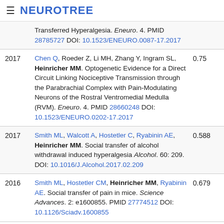≡ NEUROTREE
| Year | Reference | Score |
| --- | --- | --- |
|  | Transferred Hyperalgesia. Eneuro. 4. PMID 28785727 DOI: 10.1523/ENEURO.0087-17.2017 |  |
| 2017 | Chen Q, Roeder Z, Li MH, Zhang Y, Ingram SL, Heinricher MM. Optogenetic Evidence for a Direct Circuit Linking Nociceptive Transmission through the Parabrachial Complex with Pain-Modulating Neurons of the Rostral Ventromedial Medulla (RVM). Eneuro. 4. PMID 28660248 DOI: 10.1523/ENEURO.0202-17.2017 | 0.75 |
| 2017 | Smith ML, Walcott A, Hostetler C, Ryabinin AE, Heinricher MM. Social transfer of alcohol withdrawal induced hyperalgesia Alcohol. 60: 209. DOI: 10.1016/J.Alcohol.2017.02.209 | 0.588 |
| 2016 | Smith ML, Hostetler CM, Heinricher MM, Ryabinin AE. Social transfer of pain in mice. Science Advances. 2: e1600855. PMID 27774512 DOI: 10.1126/Sciadv.1600855 | 0.679 |